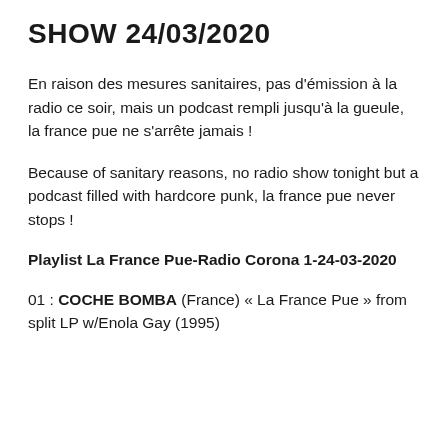SHOW 24/03/2020
En raison des mesures sanitaires, pas d'émission à la radio ce soir, mais un podcast rempli jusqu'à la gueule, la france pue ne s'arrête jamais !
Because of sanitary reasons, no radio show tonight but a podcast filled with hardcore punk, la france pue never stops !
Playlist La France Pue-Radio Corona 1-24-03-2020
01 : COCHE BOMBA (France) « La France Pue » from split LP w/Enola Gay (1995)